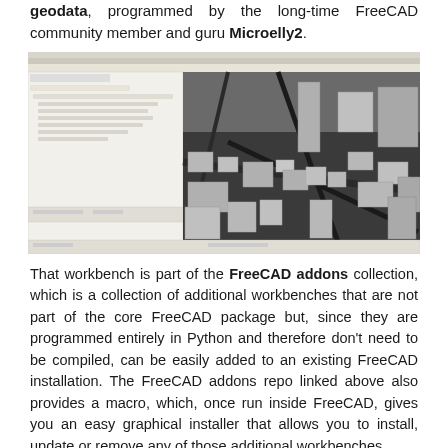geodata, programmed by the long-time FreeCAD community member and guru Microelly2.
[Figure (screenshot): FreeCAD application screenshot showing a 3D city model with buildings, roads and blocks rendered in a perspective view. The left panel shows the model tree with geodata layers. Toolbar icons are visible at the top.]
That workbench is part of the FreeCAD addons collection, which is a collection of additional workbenches that are not part of the core FreeCAD package but, since they are programmed entirely in Python and therefore don't need to be compiled, can be easily added to an existing FreeCAD installation. The FreeCAD addons repo linked above also provides a macro, which, once run inside FreeCAD, gives you an easy graphical installer that allows you to install, update or remove any of those additional workbenches.